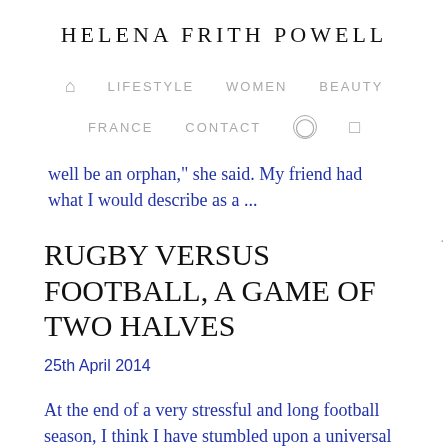HELENA FRITH POWELL
🏠  LIFESTYLE  WOMEN  BEAUTY
FRANCE  CONTACT  [instagram]  [facebook]
well be an orphan," she said. My friend had what I would describe as a ...
RUGBY VERSUS FOOTBALL, A GAME OF TWO HALVES
25th April 2014
At the end of a very stressful and long football season, I think I have stumbled upon a universal truth. Everything that is